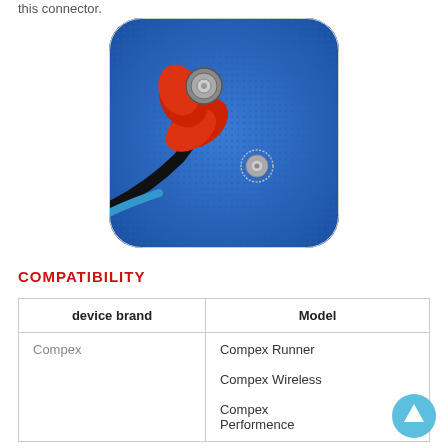this connector.
[Figure (photo): Close-up photo of a blue electrode pad with a red snap connector being attached. The connector cable is black with a red plastic housing and metal snap. A second metal snap stud is visible on the blue textured electrode surface.]
COMPATIBILITY
| device brand | Model |
| --- | --- |
| Compex | Compex Runner

Compex Wireless

Compex Performence |